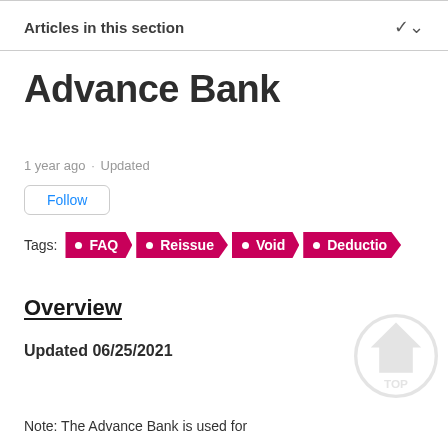Articles in this section
Advance Bank
1 year ago · Updated
Follow
Tags: FAQ Reissue Void Deductio…
Overview
Updated 06/25/2021
Note: The Advance Bank is used for...